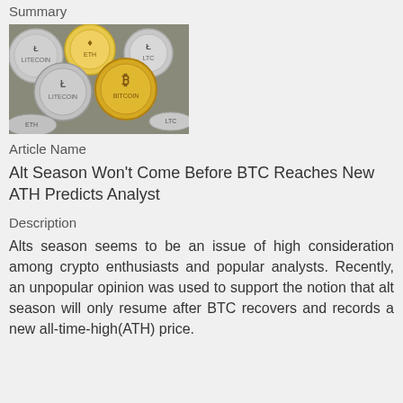Summary
[Figure (photo): A collection of physical cryptocurrency coins including Bitcoin, Ethereum, and Litecoin coins arranged together]
Article Name
Alt Season Won't Come Before BTC Reaches New ATH Predicts Analyst
Description
Alts season seems to be an issue of high consideration among crypto enthusiasts and popular analysts. Recently, an unpopular opinion was used to support the notion that alt season will only resume after BTC recovers and records a new all-time-high(ATH) price.